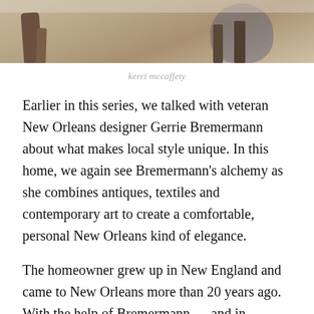[Figure (photo): Partial view of furniture legs and interior of a New Orleans home, cropped at top of page]
kerri mccaffety
Earlier in this series, we talked with veteran New Orleans designer Gerrie Bremermann about what makes local style unique. In this home, we again see Bremermann's alchemy as she combines antiques, textiles and contemporary art to create a comfortable, personal New Orleans kind of elegance.
The homeowner grew up in New England and came to New Orleans more than 20 years ago. With the help of Bremermann –– and in eclectic local tradition –– she integrated